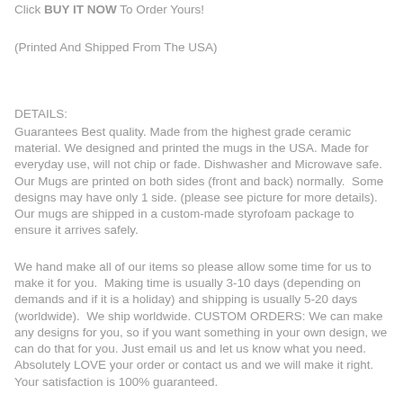Click BUY IT NOW To Order Yours!
(Printed And Shipped From The USA)
DETAILS:
Guarantees Best quality. Made from the highest grade ceramic material. We designed and printed the mugs in the USA. Made for everyday use, will not chip or fade. Dishwasher and Microwave safe. Our Mugs are printed on both sides (front and back) normally.  Some designs may have only 1 side. (please see picture for more details).  Our mugs are shipped in a custom-made styrofoam package to ensure it arrives safely.
We hand make all of our items so please allow some time for us to make it for you.  Making time is usually 3-10 days (depending on demands and if it is a holiday) and shipping is usually 5-20 days (worldwide).  We ship worldwide. CUSTOM ORDERS: We can make any designs for you, so if you want something in your own design, we can do that for you. Just email us and let us know what you need.  Absolutely LOVE your order or contact us and we will make it right. Your satisfaction is 100% guaranteed.